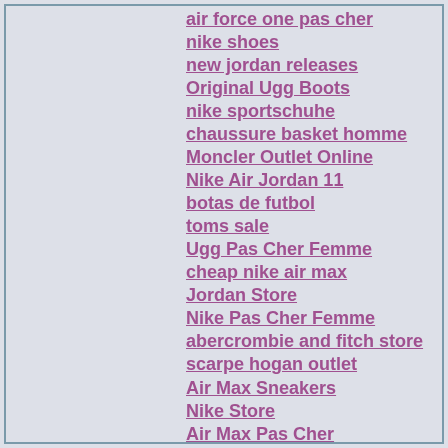air force one pas cher
nike shoes
new jordan releases
Original Ugg Boots
nike sportschuhe
chaussure basket homme
Moncler Outlet Online
Nike Air Jordan 11
botas de futbol
toms sale
Ugg Pas Cher Femme
cheap nike air max
Jordan Store
Nike Pas Cher Femme
abercrombie and fitch store
scarpe hogan outlet
Air Max Sneakers
Nike Store
Air Max Pas Cher
chaussures nike pas cher
Canada goose dam
Uggs Pas Cher Soldes
pandora rings
nike sb stefan janoski
Nike Shox Cheap
Nike Air Women
nike jordan shoes
fitflops sale uk